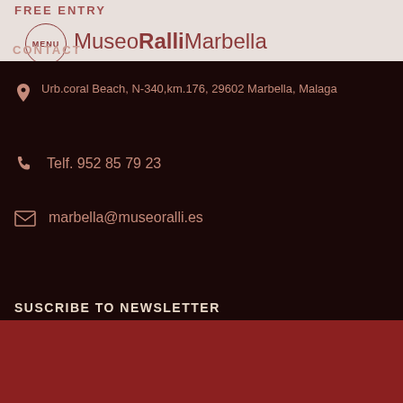FREE ENTRY
[Figure (logo): Museo Ralli Marbella logo with circular MENU button]
CONTACT
Urb.coral Beach, N-340,km.176, 29602 Marbella, Malaga
Telf. 952 85 79 23
marbella@museoralli.es
SUSCRIBE TO NEWSLETTER
Utilizamos cookies para asegurar que damos la mejor experiencia al usuario en nuestro sitio web. Si continúa utilizando este sitio asumiremos que está de acuerdo.
VER AJUSTES
ACEPTO
Leer más